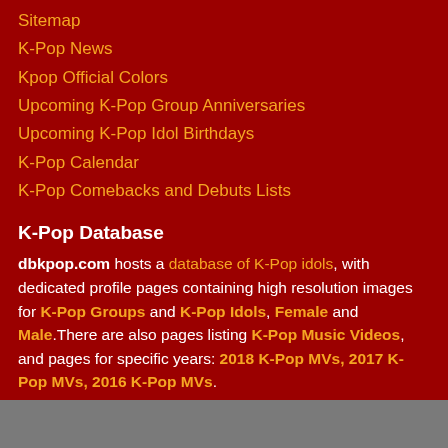Sitemap
K-Pop News
Kpop Official Colors
Upcoming K-Pop Group Anniversaries
Upcoming K-Pop Idol Birthdays
K-Pop Calendar
K-Pop Comebacks and Debuts Lists
K-Pop Database
dbkpop.com hosts a database of K-Pop idols, with dedicated profile pages containing high resolution images for K-Pop Groups and K-Pop Idols, Female and Male.There are also pages listing K-Pop Music Videos, and pages for specific years: 2018 K-Pop MVs, 2017 K-Pop MVs, 2016 K-Pop MVs.